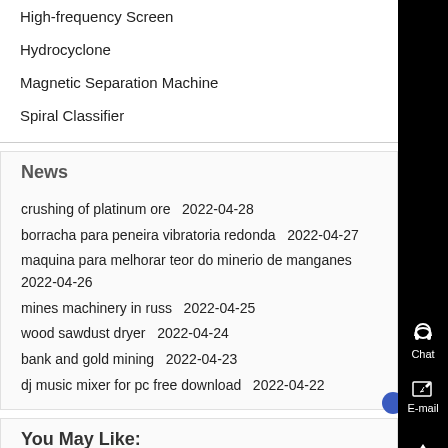High-frequency Screen
Hydrocyclone
Magnetic Separation Machine
Spiral Classifier
News
crushing of platinum ore  2022-04-28
borracha para peneira vibratoria redonda  2022-04-27
maquina para melhorar teor do minerio de manganes  2022-04-26
mines machinery in russ  2022-04-25
wood sawdust dryer  2022-04-24
bank and gold mining  2022-04-23
dj music mixer for pc free download  2022-04-22
You May Like: